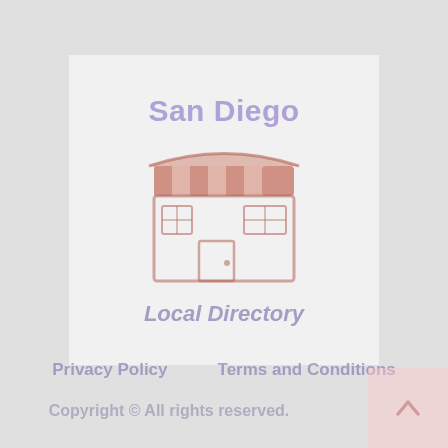[Figure (logo): San Diego Local Directory logo with store/shop icon graphic, showing text 'San Diego' at top in purple and 'Local Directory' at bottom in purple-gray italic, with a stylized storefront icon in the center rendered in salmon/pink-red tones]
Privacy Policy     Terms and Conditions
Copyright © All rights reserved.